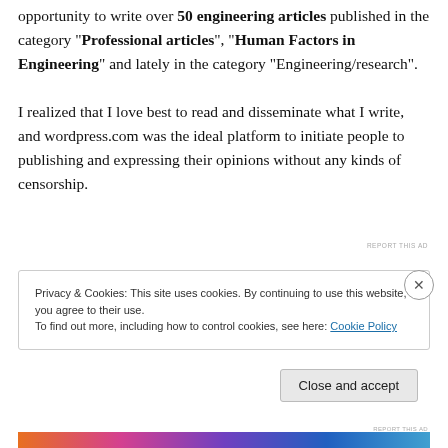opportunity to write over 50 engineering articles published in the category "Professional articles", "Human Factors in Engineering" and lately in the category "Engineering/research".

I realized that I love best to read and disseminate what I write, and wordpress.com was the ideal platform to initiate people to publishing and expressing their opinions without any kinds of censorship.
REPORT THIS AD
Privacy & Cookies: This site uses cookies. By continuing to use this website, you agree to their use.
To find out more, including how to control cookies, see here: Cookie Policy
Close and accept